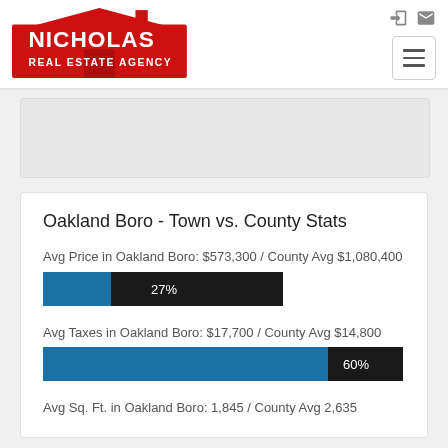[Figure (logo): Nicholas Real Estate Agency logo — red house shape with white text NICHOLAS / REAL ESTATE AGENCY]
[Figure (screenshot): Map or image placeholder area (gray box)]
Oakland Boro - Town vs. County Stats
Avg Price in Oakland Boro: $573,300 / County Avg $1,080,400
[Figure (bar-chart): Avg Price bar]
Avg Taxes in Oakland Boro: $17,700 / County Avg $14,800
[Figure (bar-chart): Avg Taxes bar]
Avg Sq. Ft. in Oakland Boro: 1,845 / County Avg 2,635